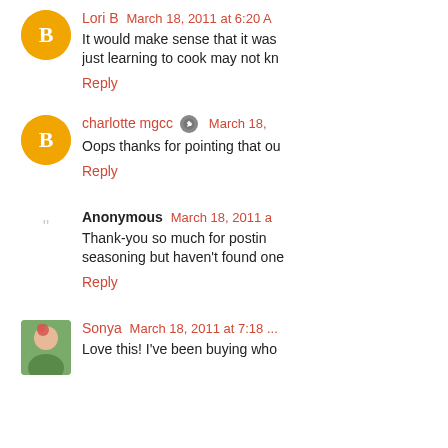Lori B March 18, 2011 at 6:20 A... It would make sense that it was... just learning to cook may not kn... Reply
charlotte mgcc [mod] March 18,... Oops thanks for pointing that ou... Reply
Anonymous March 18, 2011 a... Thank-you so much for postin... seasoning but haven't found on... Reply
Sonya March 18, 2011 at 7:18 ... Love this! I've been buying who...